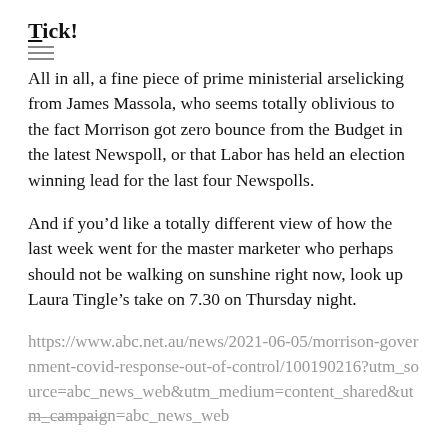Tick!
All in all, a fine piece of prime ministerial arselicking from James Massola, who seems totally oblivious to the fact Morrison got zero bounce from the Budget in the latest Newspoll, or that Labor has held an election winning lead for the last four Newspolls.
And if you’d like a totally different view of how the last week went for the master marketer who perhaps should not be walking on sunshine right now, look up Laura Tingle’s take on 7.30 on Thursday night.
https://www.abc.net.au/news/2021-06-05/morrison-government-covid-response-out-of-control/100190216?utm_source=abc_news_web&utm_medium=content_shared&utm_campaign=abc_news_web